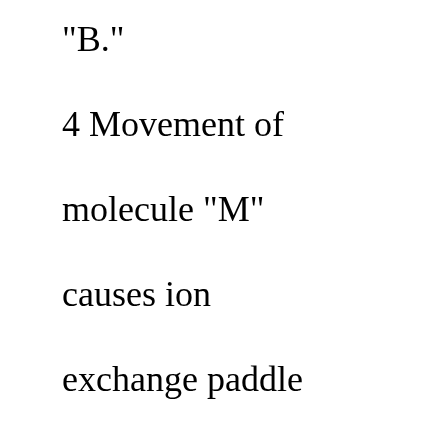"B."

4 Movement of molecule "M" causes ion exchange paddle wheel "C" to revolve.

"5 Paddle wheel